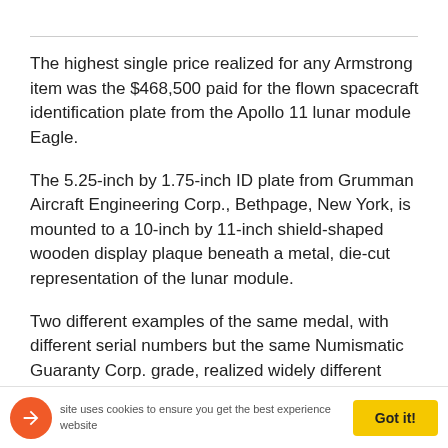The highest single price realized for any Armstrong item was the $468,500 paid for the flown spacecraft identification plate from the Apollo 11 lunar module Eagle.
The 5.25-inch by 1.75-inch ID plate from Grumman Aircraft Engineering Corp., Bethpage, New York, is mounted to a 10-inch by 11-inch shield-shaped wooden display plaque beneath a metal, die-cut representation of the lunar module.
Two different examples of the same medal, with different serial numbers but the same Numismatic Guaranty Corp. grade, realized widely different prices.
A price of $112,500 was realized for a sterling silver Apollo 11 Robbins medal. Bearing serial number 241, the
site uses cookies to ensure you get the best experience   website   Got it!